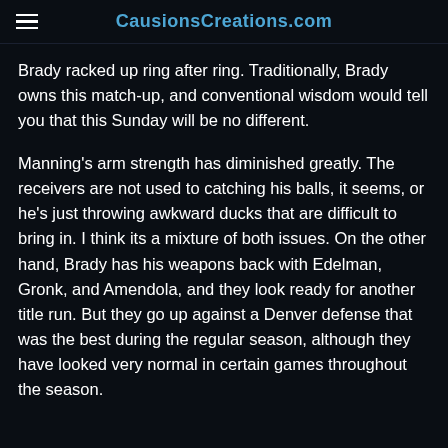CausionsCreations.com
Brady racked up ring after ring. Traditionally, Brady owns this match-up, and conventional wisdom would tell you that this Sunday will be no different.
Manning's arm strength has diminished greatly. The receivers are not used to catching his balls, it seems, or he's just throwing awkward ducks that are difficult to bring in. I think its a mixture of both issues. On the other hand, Brady has his weapons back with Edelman, Gronk, and Amendola, and they look ready for another title run. But they go up against a Denver defense that was the best during the regular season, although they have looked very normal in certain games throughout the season.